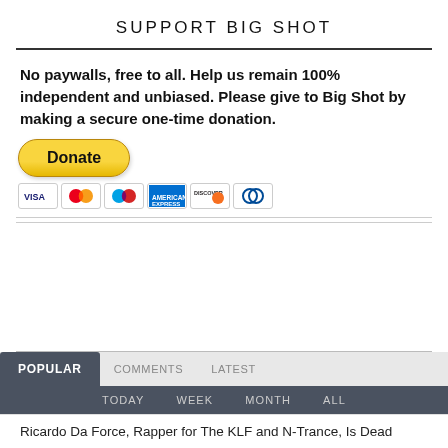SUPPORT BIG SHOT
No paywalls, free to all. Help us remain 100% independent and unbiased. Please give to Big Shot by making a secure one-time donation.
[Figure (other): PayPal Donate button with payment card icons (VISA, Mastercard, Maestro, American Express, Discover, Diners Club)]
POPULAR  COMMENTS  LATEST
TODAY  WEEK  MONTH  ALL
Ricardo Da Force, Rapper for The KLF and N-Trance, Is Dead